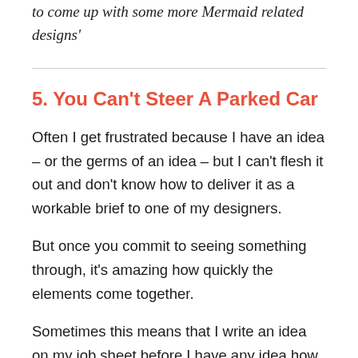to come up with some more Mermaid related designs'
5. You Can't Steer A Parked Car
Often I get frustrated because I have an idea – or the germs of an idea – but I can't flesh it out and don't know how to deliver it as a workable brief to one of my designers.
But once you commit to seeing something through, it's amazing how quickly the elements come together.
Sometimes this means that I write an idea on my job sheet before I have any idea how I'm going to